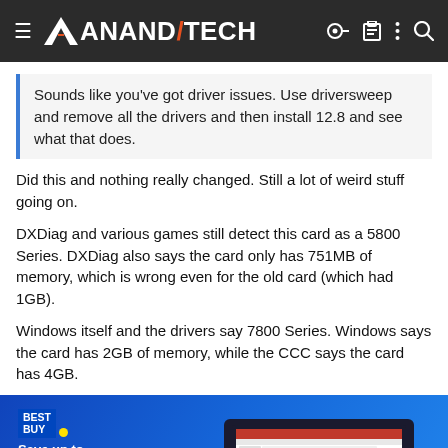AnandTech
Sounds like you've got driver issues. Use driversweep and remove all the drivers and then install 12.8 and see what that does.
Did this and nothing really changed. Still a lot of weird stuff going on.
DXDiag and various games still detect this card as a 5800 Series. DXDiag also says the card only has 751MB of memory, which is wrong even for the old card (which had 1GB).
Windows itself and the drivers say 7800 Series. Windows says the card has 2GB of memory, while the CCC says the card has 4GB.
[Figure (photo): Best Buy advertisement banner: Save up to $300 on select Microsoft Surface products for back-to-school. Shop Now button. Laptop shown on right side.]